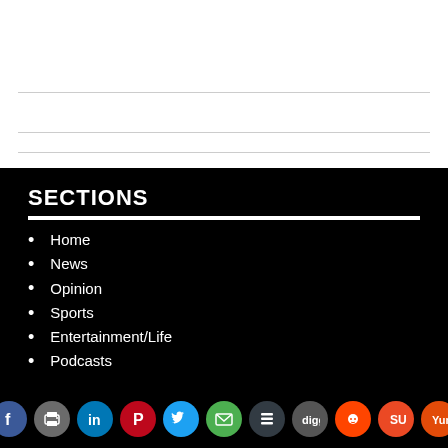SECTIONS
Home
News
Opinion
Sports
Entertainment/Life
Podcasts
[Figure (infographic): Social media sharing icons: Facebook, Print, LinkedIn, Pinterest, Twitter, Email, Buffer, Digg, Reddit, StumbleUpon, Yummly]